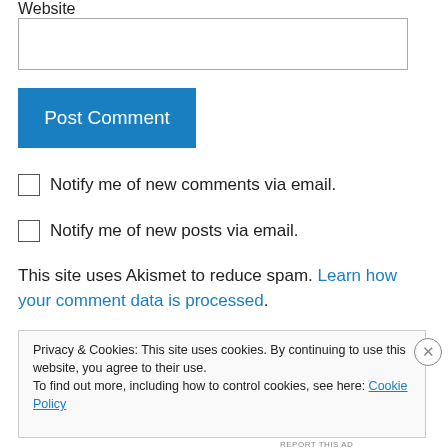Website
[Figure (other): Website text input field (empty)]
[Figure (other): Post Comment button (blue)]
Notify me of new comments via email.
Notify me of new posts via email.
This site uses Akismet to reduce spam. Learn how your comment data is processed.
Privacy & Cookies: This site uses cookies. By continuing to use this website, you agree to their use. To find out more, including how to control cookies, see here: Cookie Policy
Close and accept